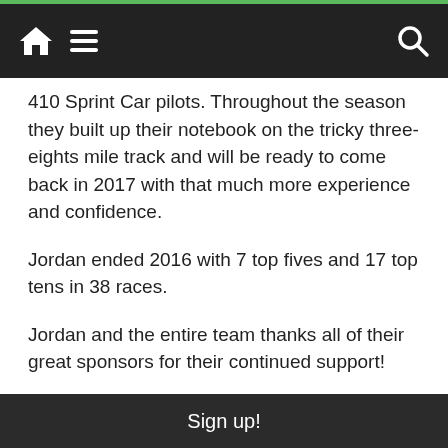navigation bar with home, menu, and search icons
410 Sprint Car pilots. Throughout the season they built up their notebook on the tricky three-eights mile track and will be ready to come back in 2017 with that much more experience and confidence.
Jordan ended 2016 with 7 top fives and 17 top tens in 38 races.
Jordan and the entire team thanks all of their great sponsors for their continued support!
American Crystal Sugar
Beehive of Reynolds
BSR
Cornerstone Ag Services – North Region
Dekalb
Sign up!